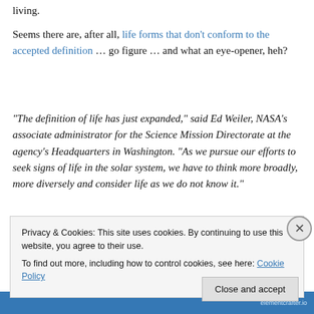living.
Seems there are, after all, life forms that don't conform to the accepted definition … go figure … and what an eye-opener, heh?
“The definition of life has just expanded,” said Ed Weiler, NASA’s associate administrator for the Science Mission Directorate at the agency’s Headquarters in Washington. “As we pursue our efforts to seek signs of life in the solar system, we have to think more broadly, more diversely and consider life as we do not know it.”
Privacy & Cookies: This site uses cookies. By continuing to use this website, you agree to their use.
To find out more, including how to control cookies, see here: Cookie Policy